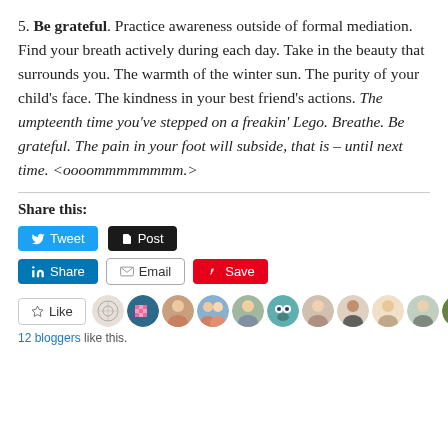5. Be grateful. Practice awareness outside of formal mediation. Find your breath actively during each day. Take in the beauty that surrounds you. The warmth of the winter sun. The purity of your child’s face. The kindness in your best friend’s actions. The umpteenth time you’ve stepped on a freakin’ Lego. Breathe. Be grateful. The pain in your foot will subside, that is – until next time. <oooommmmmmmm.>
Share this:
[Figure (screenshot): Social media share buttons: Tweet (Twitter/X), Post (Tumblr), Share (LinkedIn), Email, Save (Pinterest)]
[Figure (screenshot): Like button with star icon followed by a strip of 11 blogger avatar images]
12 bloggers like this.